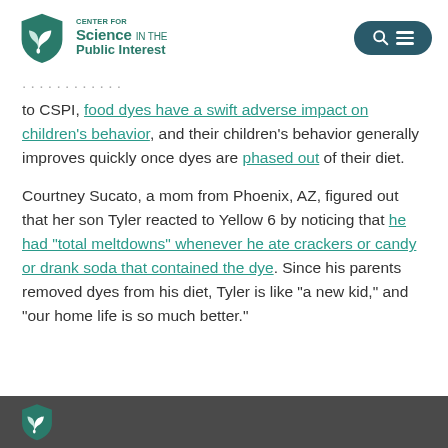CENTER FOR Science IN THE Public Interest
to CSPI, food dyes have a swift adverse impact on children's behavior, and their children's behavior generally improves quickly once dyes are phased out of their diet.
Courtney Sucato, a mom from Phoenix, AZ, figured out that her son Tyler reacted to Yellow 6 by noticing that he had "total meltdowns" whenever he ate crackers or candy or drank soda that contained the dye. Since his parents removed dyes from his diet, Tyler is like "a new kid," and "our home life is so much better."